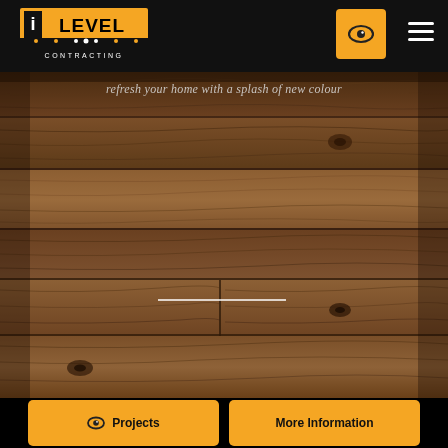[Figure (logo): i LEVEL CONTRACTING logo — bold orange rectangle with 'i LEVEL' text in black and white, subtitle 'CONTRACTING' below with dot pattern]
[Figure (photo): Close-up photograph of dark brown wood plank flooring/paneling with visible wood grain and knots]
refresh your home with a splash of new colour
Projects
More Information